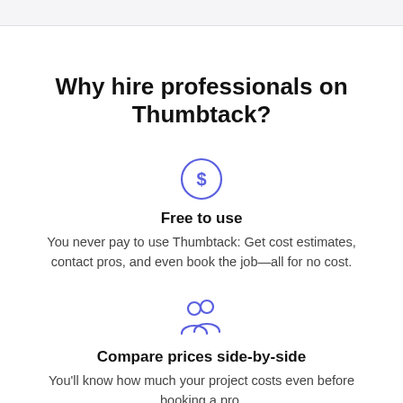Why hire professionals on Thumbtack?
[Figure (illustration): Dollar sign inside a circle icon, blue/indigo outline style]
Free to use
You never pay to use Thumbtack: Get cost estimates, contact pros, and even book the job—all for no cost.
[Figure (illustration): Two person/user silhouette icons side by side, blue/indigo outline style]
Compare prices side-by-side
You'll know how much your project costs even before booking a pro.